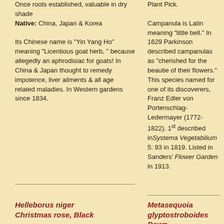Once roots established, valuable in dry shade
Native: China, Japan & Korea

Its Chinese name is "Yin Yang Ho" meaning "Licentious goat herb, " because allegedly an aphrodisiac for goats!  In China & Japan thought to remedy impotence, liver ailments & all age related maladies.  In Western gardens since 1834.
Plant Pick.

Campanula is Latin meaning "little bell."  In 1629 Parkinson described campanulas as "cherished for the beautie of their flowers." This species named for one of its discoverers, Franz Edler von Portenschlag-Ledermayer (1772-1822). 1st described in Systema Vegetabilium 5: 93 in 1819.  Listed in Sanders' Flower Garden in 1913.
Helleborus niger
Christmas rose, Black
Metasequoia glyptostroboides Dawn